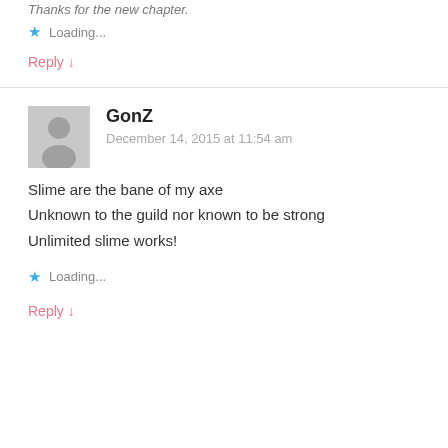Thanks for the new chapter.
Loading...
Reply ↓
GonZ
December 14, 2015 at 11:54 am
Slime are the bane of my axe
Unknown to the guild nor known to be strong
Unlimited slime works!
Loading...
Reply ↓